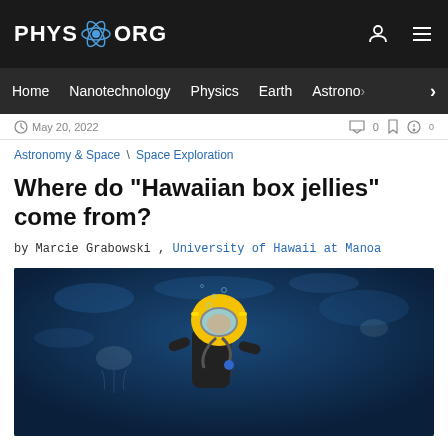PHYS.ORG
Home | Nanotechnology | Physics | Earth | Astronomy
May 20, 2022
Astronomy & Space \ Space Exploration
Where do "Hawaiian box jellies" come from?
by Marcie Grabowski , University of Hawaii at Manoa
[Figure (photo): A scuba diver in a yellow full-face mask and diving equipment underwater, photographed against a deep blue ocean background]